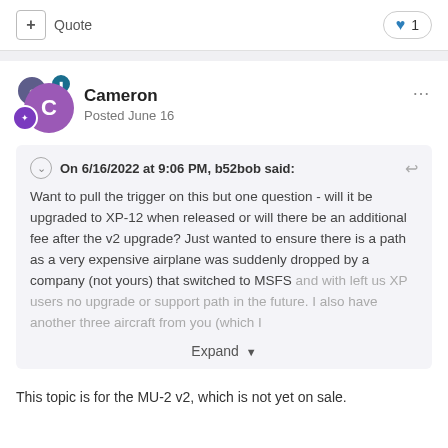+ Quote  ♥ 1
Cameron
Posted June 16
On 6/16/2022 at 9:06 PM, b52bob said:
Want to pull the trigger on this but one question - will it be upgraded to XP-12 when released or will there be an additional fee after the v2 upgrade? Just wanted to ensure there is a path as a very expensive airplane was suddenly dropped by a company (not yours) that switched to MSFS and with left us XP users no upgrade or support path in the future. I also have another three aircraft from you (which I
Expand
This topic is for the MU-2 v2, which is not yet on sale.